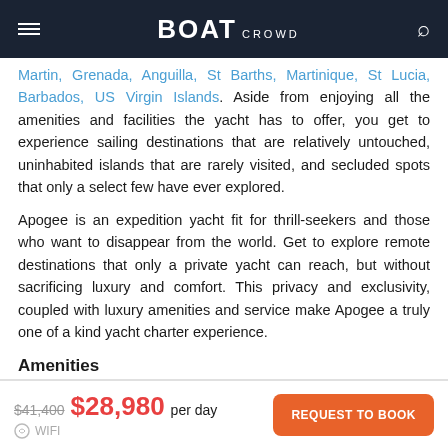BOAT CROWD
Martin, Grenada, Anguilla, St Barths, Martinique, St Lucia, Barbados, US Virgin Islands. Aside from enjoying all the amenities and facilities the yacht has to offer, you get to experience sailing destinations that are relatively untouched, uninhabited islands that are rarely visited, and secluded spots that only a select few have ever explored.
Apogee is an expedition yacht fit for thrill-seekers and those who want to disappear from the world. Get to explore remote destinations that only a private yacht can reach, but without sacrificing luxury and comfort. This privacy and exclusivity, coupled with luxury amenities and service make Apogee a truly one of a kind yacht charter experience.
Amenities
$41,400 $28,980 per day  REQUEST TO BOOK  WIFI